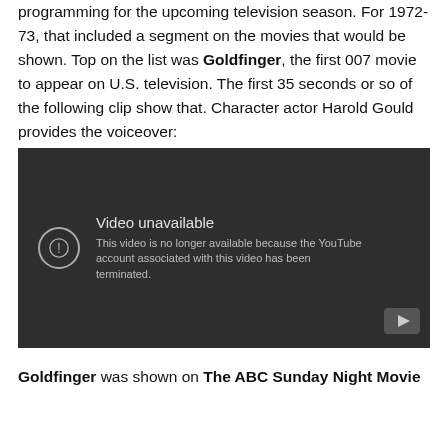programming for the upcoming television season. For 1972-73, that included a segment on the movies that would be shown. Top on the list was Goldfinger, the first 007 movie to appear on U.S. television. The first 35 seconds or so of the following clip show that. Character actor Harold Gould provides the voiceover:
[Figure (screenshot): YouTube embedded video player showing 'Video unavailable' message: 'This video is no longer available because the YouTube account associated with this video has been terminated.']
Goldfinger was shown on The ABC Sunday Night Movie